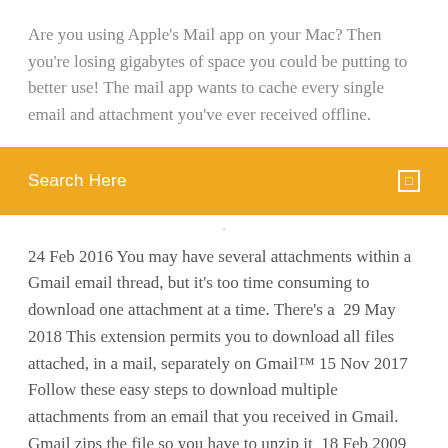Are you using Apple's Mail app on your Mac? Then you're losing gigabytes of space you could be putting to better use! The mail app wants to cache every single email and attachment you've ever received offline.
[Figure (screenshot): Orange/yellow search bar with 'Search Here' text in white and a small white square icon on the right]
24 Feb 2016 You may have several attachments within a Gmail email thread, but it's too time consuming to download one attachment at a time. There's a  29 May 2018 This extension permits you to download all files attached, in a mail, separately on Gmail™ 15 Nov 2017 Follow these easy steps to download multiple attachments from an email that you received in Gmail. Gmail zips the file so you have to unzip it  18 Feb 2009 Dear Lifehacker, Over the years, I've accumulated lots of images/files in attachments throughout my email. What I'm looking for is a